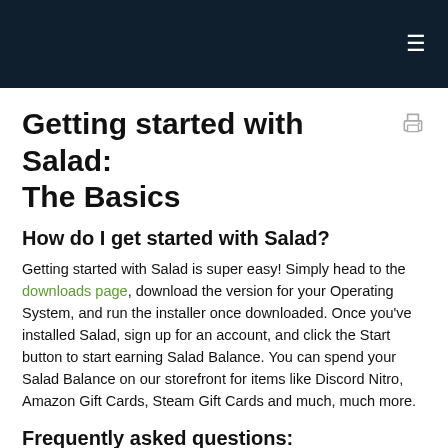≡
Getting started with Salad: The Basics
How do I get started with Salad?
Getting started with Salad is super easy! Simply head to the downloads page, download the version for your Operating System, and run the installer once downloaded. Once you've installed Salad, sign up for an account, and click the Start button to start earning Salad Balance. You can spend your Salad Balance on our storefront for items like Discord Nitro, Amazon Gift Cards, Steam Gift Cards and much, much more.
Frequently asked questions: